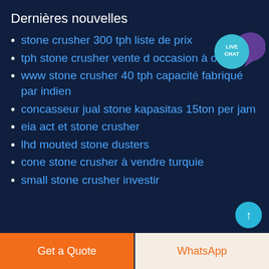Dernières nouvelles
stone crusher 300 tph liste de prix
tph stone crusher vente d occasion à odisha
www stone crusher 40 tph capacité fabriqué par indien
concasseur jual stone kapasitas 15ton per jam
eia act et stone crusher
lhd mouted stone dusters
cone stone crusher à vendre turquie
small stone crusher investir
Get a Quote
WhatsApp